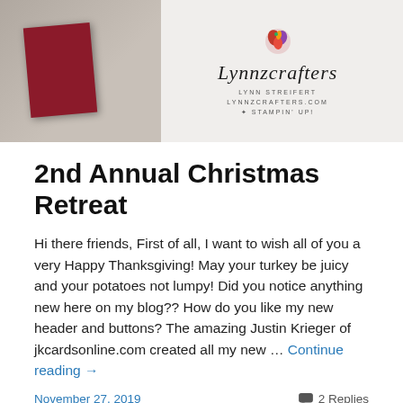[Figure (photo): Blog header image showing a dark red card on a wooden surface on the left, and the Lynnzcrafters logo with floral decoration on the right]
2nd Annual Christmas Retreat
Hi there friends, First of all, I want to wish all of you a very Happy Thanksgiving! May your turkey be juicy and your potatoes not lumpy! Did you notice anything new here on my blog?? How do you like my new header and buttons? The amazing Justin Krieger of jkcardsonline.com created all my new … Continue reading →
November 27, 2019
2 Replies
New Releases!